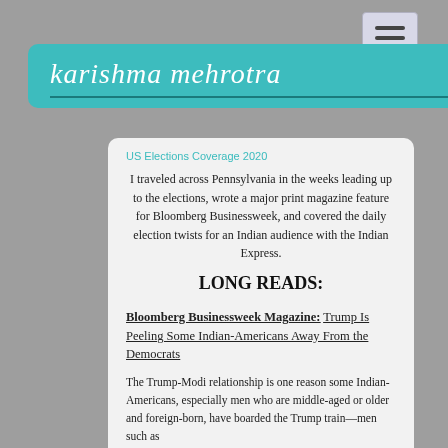karishma mehrotra
US Elections Coverage 2020
I traveled across Pennsylvania in the weeks leading up to the elections, wrote a major print magazine feature for Bloomberg Businessweek, and covered the daily election twists for an Indian audience with the Indian Express.
LONG READS:
Bloomberg Businessweek Magazine: Trump Is Peeling Some Indian-Americans Away From the Democrats
The Trump-Modi relationship is one reason some Indian-Americans, especially men who are middle-aged or older and foreign-born, have boarded the Trump train—men such as